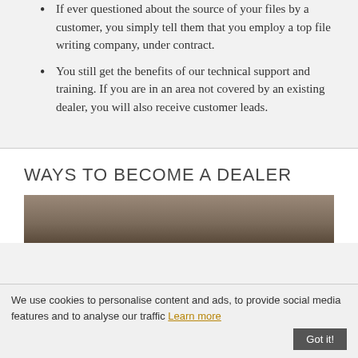If ever questioned about the source of your files by a customer, you simply tell them that you employ a top file writing company, under contract.
You still get the benefits of our technical support and training. If you are in an area not covered by an existing dealer, you will also receive customer leads.
WAYS TO BECOME A DEALER
[Figure (photo): Partial view of a photo below the WAYS TO BECOME A DEALER heading]
We use cookies to personalise content and ads, to provide social media features and to analyse our traffic Learn more Got it!